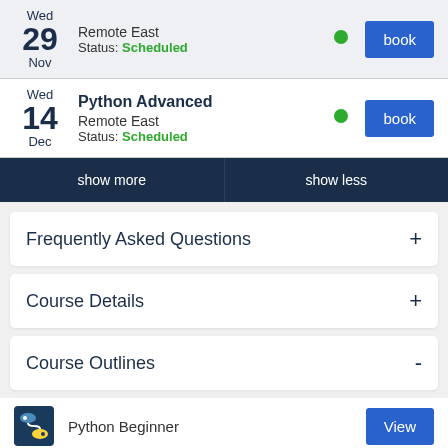| Date | Info | Status | Action |
| --- | --- | --- | --- |
| Wed 29 Nov | Remote East | Scheduled | book |
| Wed 14 Dec | Python Advanced
Remote East | Scheduled | book |
show more
show less
Frequently Asked Questions
Course Details
Course Outlines
Python Beginner
View